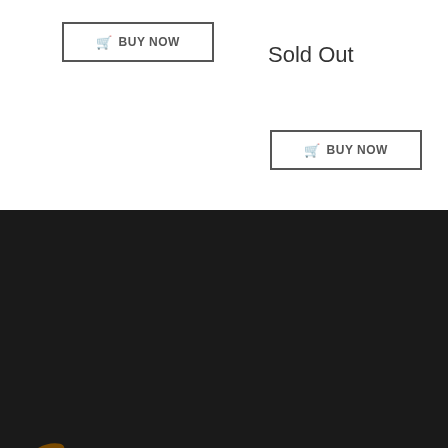BUY NOW
Sold Out
BUY NOW
[Figure (logo): Art in Coins logo with golden circular brushstroke and serif text 'art in coins']
5050 Rue de Sorel, Suite 110 Montreal, QC H4P 1G5
+15149707170
WHEN BACK IN STOCK